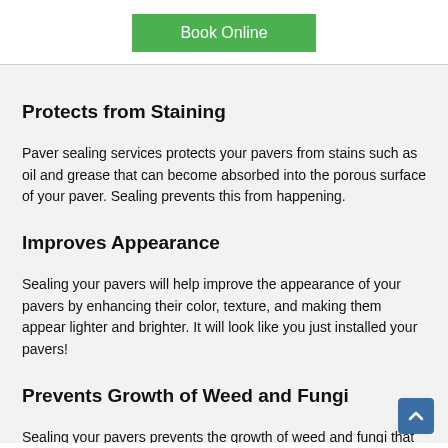[Figure (other): Green 'Book Online' button]
Protects from Staining
Paver sealing services protects your pavers from stains such as oil and grease that can become absorbed into the porous surface of your paver. Sealing prevents this from happening.
Improves Appearance
Sealing your pavers will help improve the appearance of your pavers by enhancing their color, texture, and making them appear lighter and brighter. It will look like you just installed your pavers!
Prevents Growth of Weed and Fungi
Sealing your pavers prevents the growth of weed and fungi that make your pavers unsightly and slippery. Plus, it